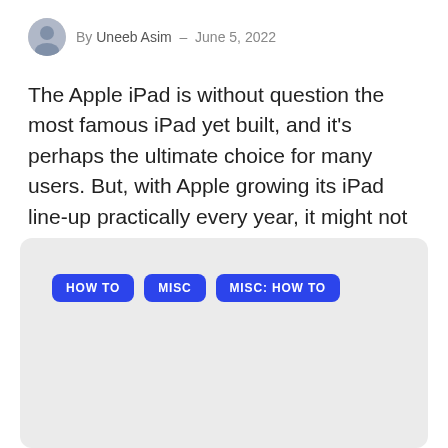By Uneeb Asim – June 5, 2022
The Apple iPad is without question the most famous iPad yet built, and it's perhaps the ultimate choice for many users. But, with Apple growing its iPad line-up practically every year, it might not be easy to choose which iPad is best for you. In this article, we have…
[Figure (other): Tag buttons section with light grey background containing three blue pill-shaped tags: HOW TO, MISC, MISC: HOW TO]